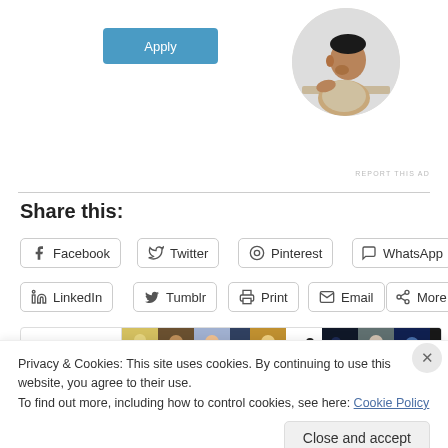[Figure (illustration): A blue 'Apply' button on the left and a circular profile photo of a man on the right, part of an advertisement.]
REPORT THIS AD
Share this:
Facebook
Twitter
Pinterest
WhatsApp
LinkedIn
Tumblr
Print
Email
More
[Figure (screenshot): Like button bar with star icon and avatar thumbnails of followers.]
Privacy & Cookies: This site uses cookies. By continuing to use this website, you agree to their use.
To find out more, including how to control cookies, see here: Cookie Policy
Close and accept